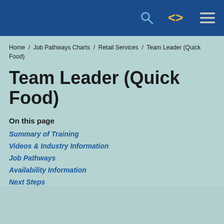[Figure (screenshot): Navigation header bar with dark blue background containing a search icon (magnifying glass), a code bracket icon in yellow/gold, and a hamburger menu icon in white, all on the right side.]
Home / Job Pathways Charts / Retail Services / Team Leader (Quick Food)
Team Leader (Quick Food)
On this page
Summary of Training
Videos & Industry Information
Job Pathways
Availability Information
Next Steps